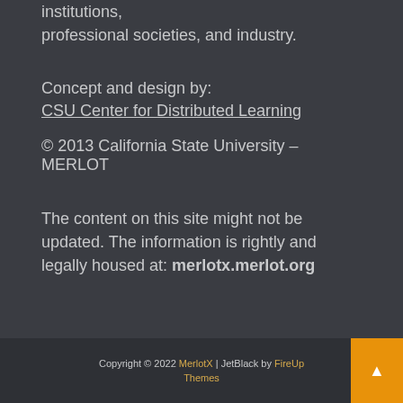institutions, professional societies, and industry.
Concept and design by:
CSU Center for Distributed Learning
© 2013 California State University – MERLOT
The content on this site might not be updated. The information is rightly and legally housed at: merlotx.merlot.org
Copyright © 2022 MerlotX | JetBlack by FireUp Themes